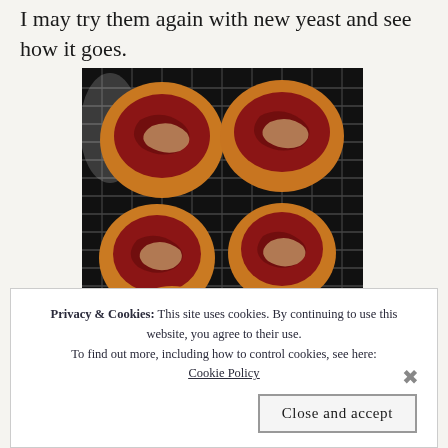I may try them again with new yeast and see how it goes.
[Figure (photo): Six round flatbread or English muffin pizzas topped with red tomato sauce and melted cheese, cooling on a black wire rack. Arranged in three rows of two.]
Privacy & Cookies: This site uses cookies. By continuing to use this website, you agree to their use.
To find out more, including how to control cookies, see here: Cookie Policy
Close and accept